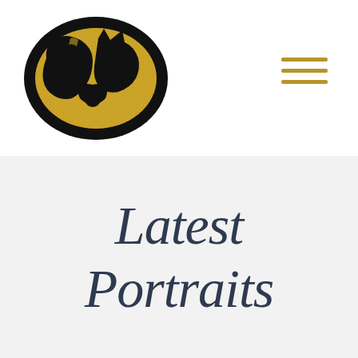[Figure (logo): Oval logo with black border on gold/yellow background showing silhouettes of a dog, cat, and bird]
[Figure (other): Hamburger menu icon with three horizontal gold-colored lines]
Latest Portraits